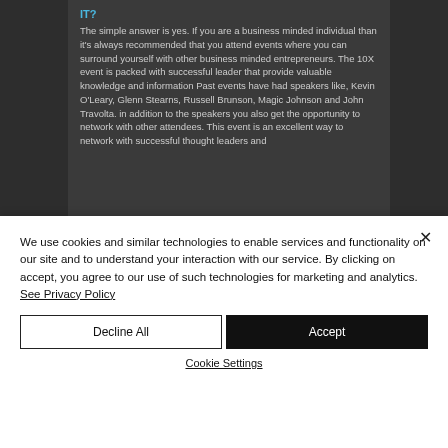IT?
The simple answer is yes. If you are a business minded individual than it's always recommended that you attend events where you can surround yourself with other business minded entrepreneurs. The 10X event is packed with successful leader that provide valuable knowledge and information Past events have had speakers like, Kevin O'Leary, Glenn Stearns, Russell Brunson, Magic Johnson and John Travolta. in addition to the speakers you also get the opportunity to network with other attendees. This event is an excellent way to network with successful thought leaders and
We use cookies and similar technologies to enable services and functionality on our site and to understand your interaction with our service. By clicking on accept, you agree to our use of such technologies for marketing and analytics. See Privacy Policy
Decline All
Accept
Cookie Settings